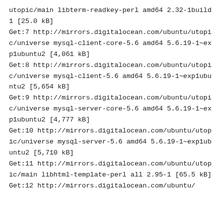utopic/main libterm-readkey-perl amd64 2.32-1build1 [25.0 kB]
Get:7 http://mirrors.digitalocean.com/ubuntu/utopic/universe mysql-client-core-5.6 amd64 5.6.19-1~exp1ubuntu2 [4,061 kB]
Get:8 http://mirrors.digitalocean.com/ubuntu/utopic/universe mysql-client-5.6 amd64 5.6.19-1~exp1ubuntu2 [5,654 kB]
Get:9 http://mirrors.digitalocean.com/ubuntu/utopic/universe mysql-server-core-5.6 amd64 5.6.19-1~exp1ubuntu2 [4,777 kB]
Get:10 http://mirrors.digitalocean.com/ubuntu/utopic/universe mysql-server-5.6 amd64 5.6.19-1~exp1ubuntu2 [5,710 kB]
Get:11 http://mirrors.digitalocean.com/ubuntu/utopic/main libhtml-template-perl all 2.95-1 [65.5 kB]
Get:12 http://mirrors.digitalocean.com/ubuntu/